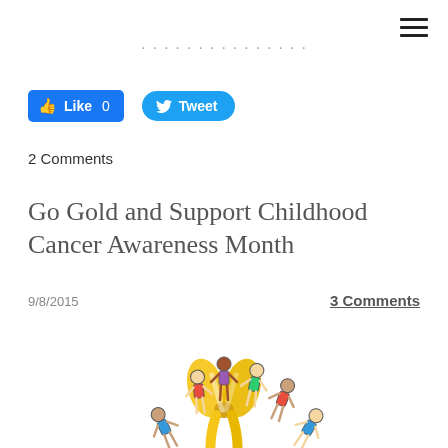... (partial text, cropped)
[Figure (other): Facebook Like button showing count 0 and Twitter Tweet button]
2 Comments
Go Gold and Support Childhood Cancer Awareness Month
9/8/2015
3 Comments
[Figure (illustration): Colorful cartoon children holding hands in a circle around a gold/yellow awareness ribbon with text 'SEPTEMBER IS' at the bottom]